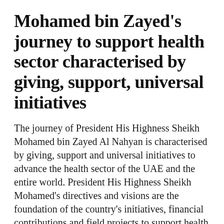Mohamed bin Zayed's journey to support health sector characterised by giving, support, universal initiatives
The journey of President His Highness Sheikh Mohamed bin Zayed Al Nahyan is characterised by giving, support and universal initiatives to advance the health sector of the UAE and the entire world. President His Highness Sheikh Mohamed's directives and visions are the foundation of the country's initiatives, financial contributions and field projects to support health and medical programmes, implement vaccination campaigns and